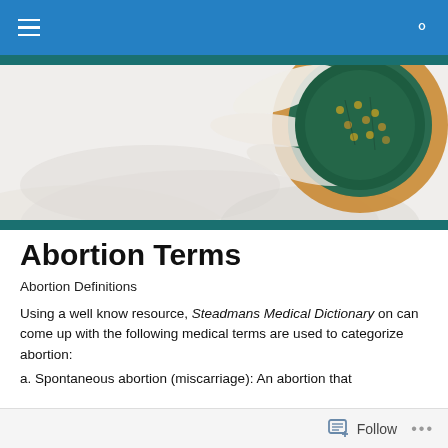Navigation bar with hamburger menu and search icon
[Figure (photo): Close-up photo of a white daisy flower with a green and yellow center, on a light background. The flower center is visible in the right portion of the image.]
Abortion Terms
Abortion Definitions
Using a well know resource, Steadmans Medical Dictionary on can come up with the following medical terms are used to categorize abortion:
a. Spontaneous abortion (miscarriage): An abortion that...
Follow ...